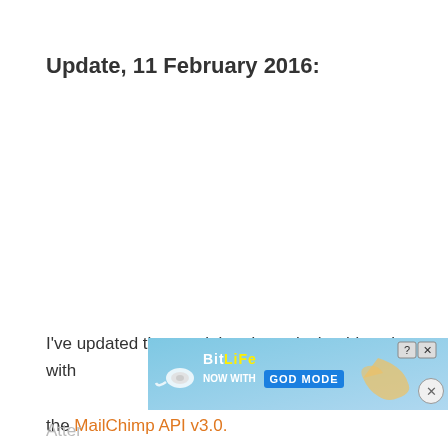Update, 11 February 2016:
I've updated the tutorial and now it should work with the MailChimp API v3.0.
[Figure (screenshot): BitLife advertisement banner with 'NOW WITH GOD MODE' text, snail logo, and pointing hand graphic on a blue gradient background. Has close (X) and help (?) buttons.]
Atter